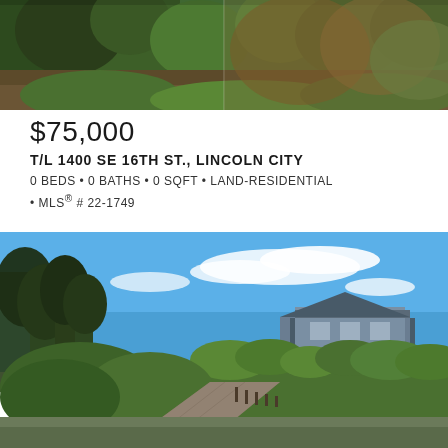[Figure (photo): Aerial/ground view of wooded lot with trees and vegetation, natural landscape in Lincoln City]
$75,000
T/L 1400 SE 16TH ST., LINCOLN CITY
0 BEDS • 0 BATHS • 0 SQFT • LAND-RESIDENTIAL • MLS® # 22-1749
[Figure (photo): Exterior photo of a multi-story blue/grey house with a gravel driveway, surrounded by tall pine trees and green shrubs under a bright blue sky with wispy clouds]